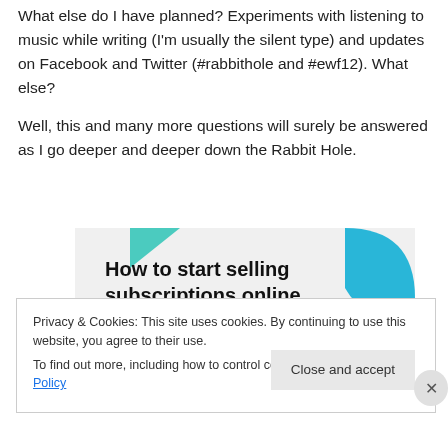What else do I have planned? Experiments with listening to music while writing (I'm usually the silent type) and updates on Facebook and Twitter (#rabbithole and #ewf12). What else?
Well, this and many more questions will surely be answered as I go deeper and deeper down the Rabbit Hole.
[Figure (infographic): Advertisement banner with teal/cyan decorative shapes and bold text reading 'How to start selling subscriptions online']
Privacy & Cookies: This site uses cookies. By continuing to use this website, you agree to their use.
To find out more, including how to control cookies, see here: Cookie Policy